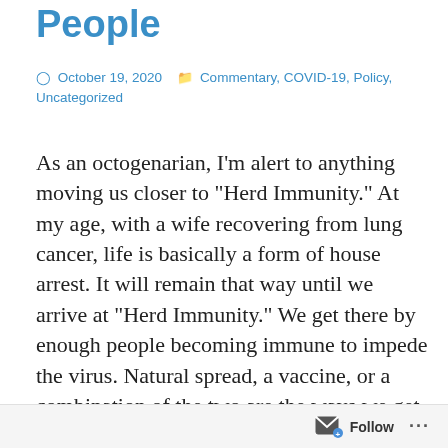People
October 19, 2020   Commentary, COVID-19, Policy, Uncategorized
As an octogenarian, I'm alert to anything moving us closer to "Herd Immunity." At my age, with a wife recovering from lung cancer, life is basically a form of house arrest. It will remain that way until we arrive at "Herd Immunity." We get there by enough people becoming immune to impede the virus. Natural spread, a vaccine, or a combination of the two are the ways we get there. Given the history of vaccine development, a successful one at first looked a very long way off. Due to herculean
Follow ...